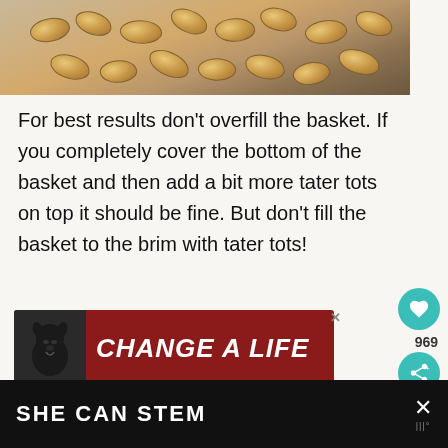[Figure (photo): Photo of tater tots in an air fryer basket, viewed from above. Dark basket with golden-brown tater tots visible.]
For best results don't overfill the basket. If you completely cover the bottom of the basket and then add a bit more tater tots on top it should be fine. But don't fill the basket to the brim with tater tots!
[Figure (infographic): Advertisement banner with dark red background showing a black dog and text 'CHANGE A LIFE' in bold italic white letters.]
[Figure (infographic): WHAT'S NEXT callout showing Air Fryer Bacon with a thumbnail image.]
[Figure (infographic): Bottom bar with black background showing 'SHE CAN STEM' text and a close button with dots symbol.]